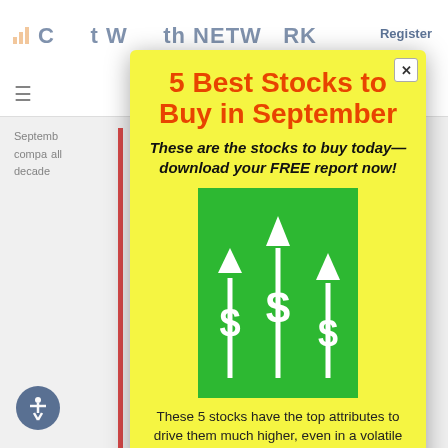[Figure (screenshot): Background website: Cabot Wealth Network header with logo, hamburger menu, Register button, and partial article text with red left border bar]
5 Best Stocks to Buy in September
These are the stocks to buy today—download your FREE report now!
[Figure (illustration): Green square illustration showing three dollar sign symbols on arrow stalks growing upward, representing stock growth]
These 5 stocks have the top attributes to drive them much higher, even in a volatile market!